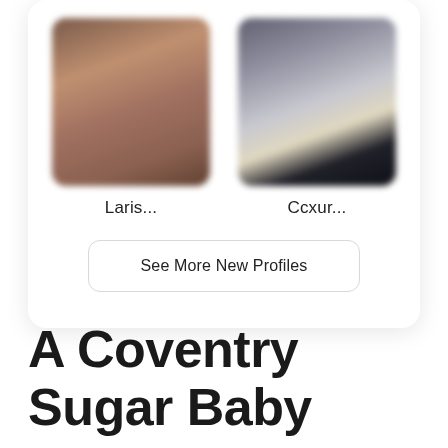[Figure (photo): Profile photo of a person, blurred for privacy, with warm brown tones]
Laris...
[Figure (photo): Profile photo of a person with blonde hair, blurred for privacy, dark background]
Ccxur...
See More New Profiles
A Coventry Sugar Baby